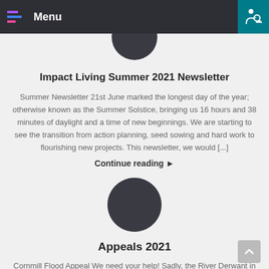Menu
[Figure (illustration): Dark circular avatar placeholder at top of first article]
Impact Living Summer 2021 Newsletter
Summer Newsletter 21st June marked the longest day of the year; otherwise known as the Summer Solstice, bringing us 16 hours and 38 minutes of daylight and a time of new beginnings. We are starting to see the transition from action planning, seed sowing and hard work to flourishing new projects. This newsletter, we would [...]
Continue reading ▶
[Figure (illustration): Dark circular avatar placeholder at top of second article]
Appeals 2021
Cornmill Flood Appeal We need your help! Sadly, the River Derwant in Malton burst its bank, flooding and severely damaging